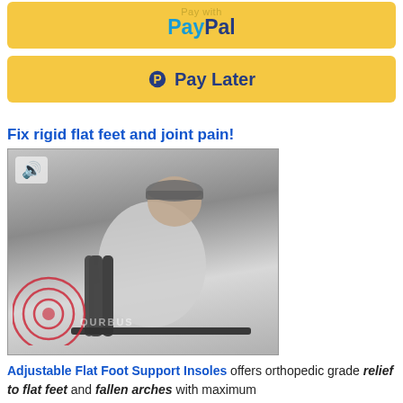[Figure (other): PayPal payment button (gold background, PayPal logo in blue)]
[Figure (other): Pay Later button (gold background, PayPal P icon and Pay Later text in blue)]
Fix rigid flat feet and joint pain!
[Figure (photo): Video thumbnail showing an older man in a grey shirt holding a railing, with a speaker/sound icon in the top left and red ripple circles overlay at the bottom left, watermark text visible]
Adjustable Flat Foot Support Insoles offers orthopedic grade relief to flat feet and fallen arches with maximum